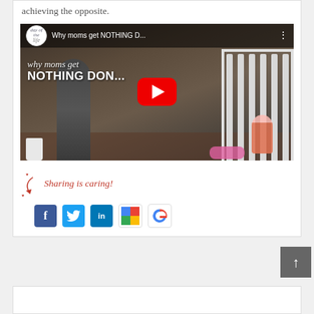achieving the opposite.
[Figure (screenshot): YouTube video thumbnail titled 'Why moms get NOTHING D...' showing a woman tidying a child's room with a crib and a toddler. Has a red YouTube play button overlay and cursive text 'why moms get NOTHING DON...']
Sharing is caring!
[Figure (infographic): Social sharing icons: Facebook, Twitter, LinkedIn, Google Maps/Plus, Google]